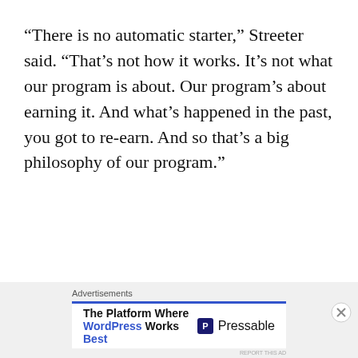“There is no automatic starter,” Streeter said. “That’s not how it works. It’s not what our program is about. Our program’s about earning it. And what’s happened in the past, you got to re-earn. And so that’s a big philosophy of our program.”
[Figure (other): Advertisement banner for Pressable WordPress hosting. Shows 'Advertisements' label, blue divider line, ad text 'The Platform Where WordPress Works Best' and Pressable logo with name.]